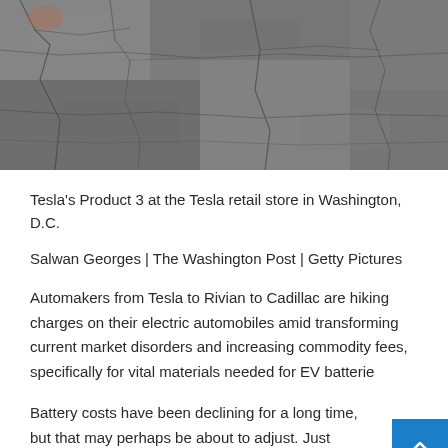[Figure (photo): Close-up photo of a cracked stone or pavement surface, gray tones with visible fracture lines across the surface.]
Tesla's Product 3 at the Tesla retail store in Washington, D.C.
Salwan Georges | The Washington Post | Getty Pictures
Automakers from Tesla to Rivian to Cadillac are hiking charges on their electric automobiles amid transforming current market disorders and increasing commodity fees, specifically for vital materials needed for EV batterie
Battery costs have been declining for a long time, but that may perhaps be about to adjust. Just one firm jobs a